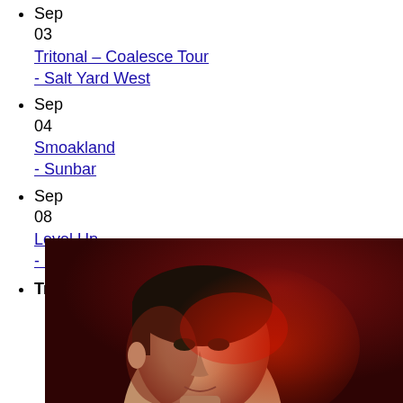Sep 03 Tritonal – Coalesce Tour - Salt Yard West
Sep 04 Smoakland - Sunbar
Sep 08 Level Up - Effex Nightclub
Trending News
[Figure (photo): Close-up photo of a man's face partially lit with red light against a dark red/maroon background]